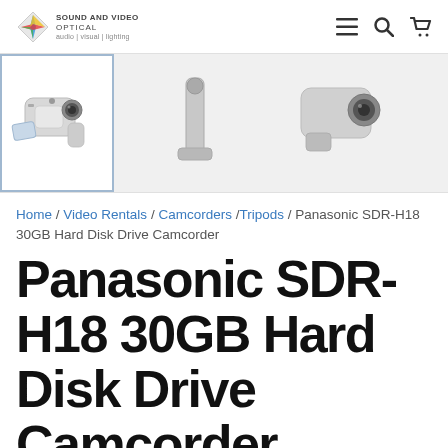Sound and Video Optical — audio | visual | lighting
[Figure (photo): Product image strip showing a Panasonic SDR-H18 camcorder. Left: selected thumbnail with white background. Right: larger view showing two angles of the camcorder with tripod handle attachment.]
Home / Video Rentals / Camcorders /Tripods / Panasonic SDR-H18 30GB Hard Disk Drive Camcorder
Panasonic SDR-H18 30GB Hard Disk Drive Camcorder